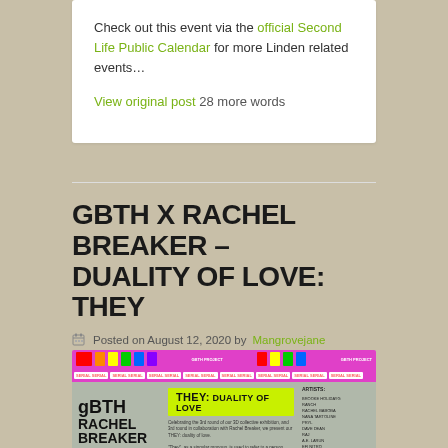Check out this event via the official Second Life Public Calendar for more Linden related events…
View original post 28 more words
GBTH X RACHEL BREAKER – DUALITY OF LOVE: THEY
Posted on August 12, 2020 by Mangrovejane
Leave a Comment
[Figure (photo): Promotional poster for GBTH x Rachel Breaker – THEY: Duality of Love event, featuring pink and magenta colors with GBTH and Rachel Breaker text, and event details.]